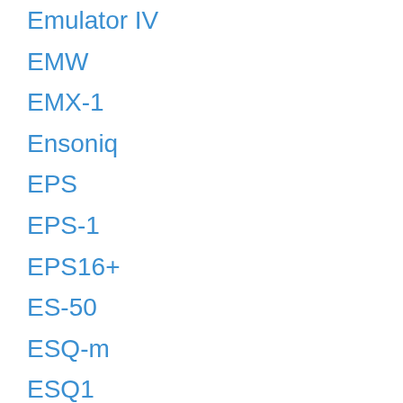Emulator IV
EMW
EMX-1
Ensoniq
EPS
EPS-1
EPS16+
ES-50
ESQ-m
ESQ1
Estradin 230
Etherwave
ETI
Evolution